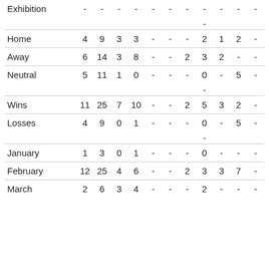| Exhibition | - | - | - | - | - | - | - | - | - | - | - |
|  |  |  |  |  |  |  |  | - |  |  |  |
| Home | 4 | 9 | 3 | 3 | - | - | - | 2 | 1 | 2 | - |
| Away | 6 | 14 | 3 | 8 | - | - | 2 | 3 | 2 | - | - |
| Neutral | 5 | 11 | 1 | 0 | - | - | - | 0 | - | 5 | - |
|  |  |  |  |  |  |  |  | - |  |  |  |
| Wins | 11 | 25 | 7 | 10 | - | - | 2 | 5 | 3 | 2 | - |
| Losses | 4 | 9 | 0 | 1 | - | - | - | 0 | - | 5 | - |
|  |  |  |  |  |  |  |  | - |  |  |  |
| January | 1 | 3 | 0 | 1 | - | - | - | 0 | - | - | - |
| February | 12 | 25 | 4 | 6 | - | - | 2 | 3 | 3 | 7 | - |
| March | 2 | 6 | 3 | 4 | - | - | - | 2 | - | - | - |